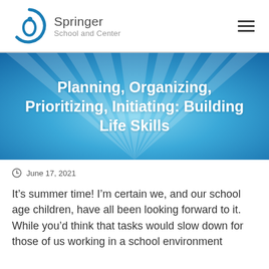[Figure (logo): Springer School and Center logo with circular blue emblem and text]
Planning, Organizing, Prioritizing, Initiating: Building Life Skills
June 17, 2021
It’s summer time! I’m certain we, and our school age children, have all been looking forward to it.  While you’d think that tasks would slow down for those of us working in a school environment